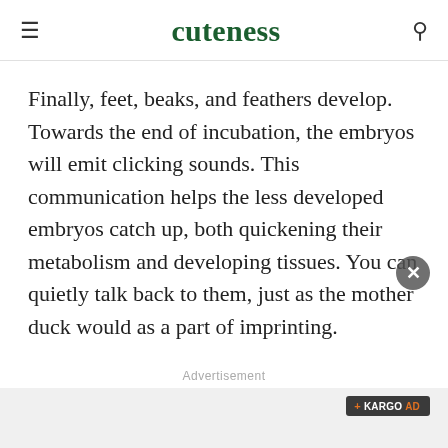cuteness
Finally, feet, beaks, and feathers develop. Towards the end of incubation, the embryos will emit clicking sounds. This communication helps the less developed embryos catch up, both quickening their metabolism and developing tissues. You can quietly talk back to them, just as the mother duck would as a part of imprinting.
Advertisement